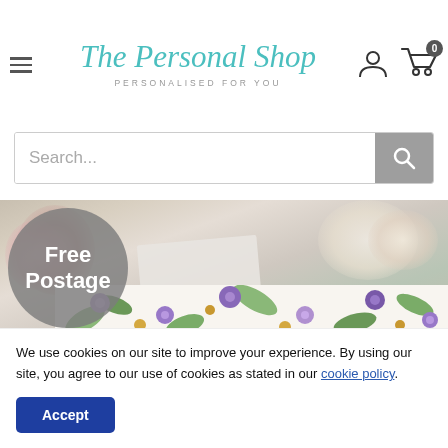[Figure (logo): The Personal Shop logo — script teal text with 'PERSONALISED FOR YOU' subtitle]
[Figure (screenshot): Search bar with placeholder 'Search...' and grey search button]
[Figure (photo): Hero image of greeting cards with flowers on a wooden background, with a grey circular 'Free Postage' badge overlay and a floral card visible in lower portion]
We use cookies on our site to improve your experience. By using our site, you agree to our use of cookies as stated in our cookie policy.
Accept